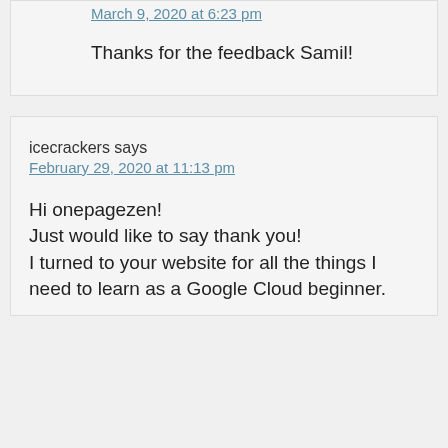March 9, 2020 at 6:23 pm
Thanks for the feedback Samil!
icecrackers says
February 29, 2020 at 11:13 pm
Hi onepagezen!
Just would like to say thank you!
I turned to your website for all the things I need to learn as a Google Cloud beginner.